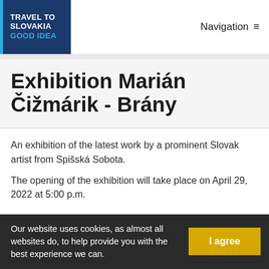[Figure (logo): Travel to Slovakia Good Idea logo — dark blue box with white and cyan text]
Navigation ≡
Exhibition Marián Čižmárik - Brány
An exhibition of the latest work by a prominent Slovak artist from Spišská Sobota.
The opening of the exhibition will take place on April 29, 2022 at 5:00 p.m.
Our website uses cookies, as almost all websites do, to help provide you with the best experience we can.